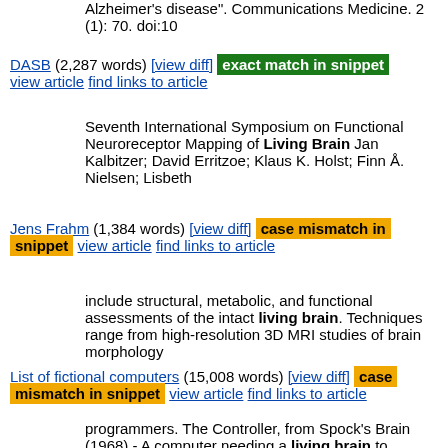Alzheimer's disease". Communications Medicine. 2 (1): 70. doi:10
DASB (2,287 words) [view diff] exact match in snippet view article find links to article
Seventh International Symposium on Functional Neuroreceptor Mapping of Living Brain Jan Kalbitzer; David Erritzoe; Klaus K. Holst; Finn Å. Nielsen; Lisbeth
Jens Frahm (1,384 words) [view diff] case mismatch in snippet view article find links to article
include structural, metabolic, and functional assessments of the intact living brain. Techniques range from high-resolution 3D MRI studies of brain morphology
List of fictional computers (15,008 words) [view diff] case mismatch in snippet view article find links to article
programmers. The Controller, from Spock's Brain (1968) - A computer needing a living brain to operate which controlled a vast database and decided who could access